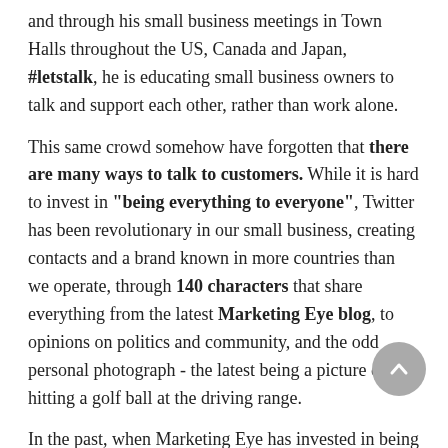and through his small business meetings in Town Halls throughout the US, Canada and Japan, #letstalk, he is educating small business owners to talk and support each other, rather than work alone.
This same crowd somehow have forgotten that there are many ways to talk to customers. While it is hard to invest in "being everything to everyone", Twitter has been revolutionary in our small business, creating contacts and a brand known in more countries than we operate, through 140 characters that share everything from the latest Marketing Eye blog, to opinions on politics and community, and the odd personal photograph - the latest being a picture of me hitting a golf ball at the driving range.
In the past, when Marketing Eye has invested in being very active on Twitter, we have gained one new client a week. That means $24,000 per week for less than 2-hours of tweeting and responding to others that direct message us or include the Marketing Eye brand in their posts.
72 percent of Twitter followers are more likely to buy from